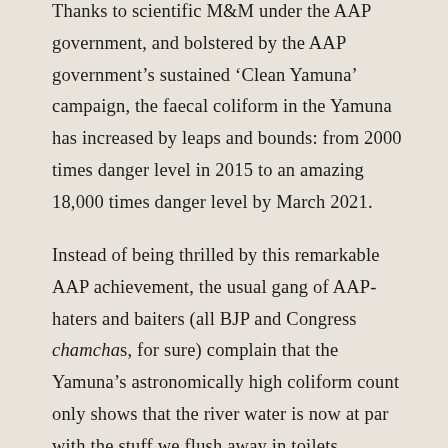Thanks to scientific M&M under the AAP government, and bolstered by the AAP government's sustained 'Clean Yamuna' campaign, the faecal coliform in the Yamuna has increased by leaps and bounds: from 2000 times danger level in 2015 to an amazing 18,000 times danger level by March 2021.
Instead of being thrilled by this remarkable AAP achievement, the usual gang of AAP-haters and baiters (all BJP and Congress chamchas, for sure) complain that the Yamuna's astronomically high coliform count only shows that the river water is now at par with the stuff we flush away in toilets.